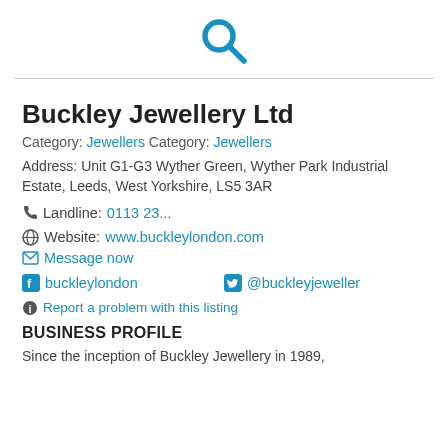[Figure (logo): Blue search/magnifying glass icon]
Buckley Jewellery Ltd
Category: Jewellers Category: Jewellers
Address: Unit G1-G3 Wyther Green, Wyther Park Industrial Estate, Leeds, West Yorkshire, LS5 3AR
Landline: 0113 23...
Website: www.buckleylondon.com
Message now
buckleylondon   @buckleyjeweller
Report a problem with this listing
BUSINESS PROFILE
Since the inception of Buckley Jewellery in 1989,